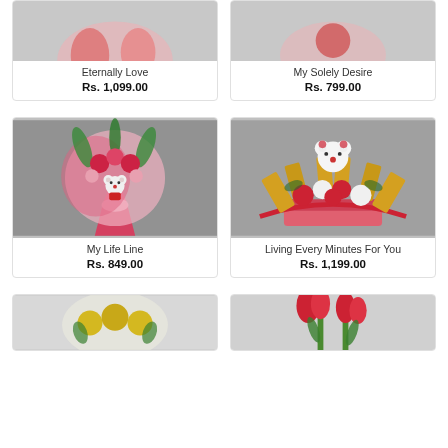[Figure (photo): Flower bouquet product image for Eternally Love]
Eternally Love
Rs. 1,099.00
[Figure (photo): Flower product image for My Solely Desire]
My Solely Desire
Rs. 799.00
[Figure (photo): Pink flower bouquet with teddy bear for My Life Line]
My Life Line
Rs. 849.00
[Figure (photo): Red and white roses with chocolate 5Star bars and teddy bear for Living Every Minutes For You]
Living Every Minutes For You
Rs. 1,199.00
[Figure (photo): Yellow flower bouquet product image (partially visible)]
[Figure (photo): Red tulips product image (partially visible)]